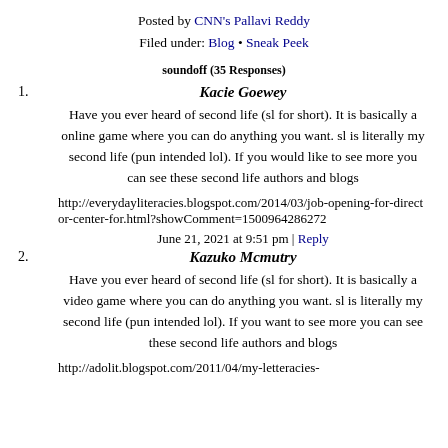Posted by CNN's Pallavi Reddy
Filed under: Blog • Sneak Peek
soundoff (35 Responses)
1. Kacie Goewey
Have you ever heard of second life (sl for short). It is basically a online game where you can do anything you want. sl is literally my second life (pun intended lol). If you would like to see more you can see these second life authors and blogs
http://everydayliteracies.blogspot.com/2014/03/job-opening-for-director-center-for.html?showComment=1500964286272
June 21, 2021 at 9:51 pm | Reply
2. Kazuko Mcmutry
Have you ever heard of second life (sl for short). It is basically a video game where you can do anything you want. sl is literally my second life (pun intended lol). If you want to see more you can see these second life authors and blogs
http://adolit.blogspot.com/2011/04/my-letteracies-